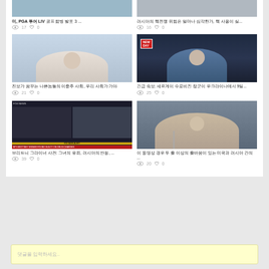[Figure (photo): Cropped top of two thumbnail images (partial view at top of page)]
미, PGA 투어 LIV 골프 합병 발표 3 ...
views: 17  likes: 0
러시아의 핵전쟁 위협은 얼마나 심각한가, 핵 사용이 실...
views: 16  likes: 0
[Figure (photo): Man in light blue shirt smiling at camera]
진보가 꿈꾸는 나쁜놈들의 이중주 사회, 우리 사회가 가야
views: 21  likes: 0
[Figure (photo): Man in blue shirt in front of NEW DAY news broadcast background]
긴급 속보: 세르게이 수로비킨 장군이 우크라이나에서 9일...
views: 25  likes: 0
[Figure (screenshot): Fox News broadcast showing Brittney Griner found guilty on drug charges]
브리트니 그라이너 사건: 그녀의 유죄, 러시아의 반응, ...
views: 39  likes: 0
[Figure (photo): Older official man in suit speaking at microphone]
이 동영상 경우 두 줄 이상의 줄바꿈이 있는 미국과 러시아 간의 ...
views: 20  likes: 0
댓글을 입력하세요..